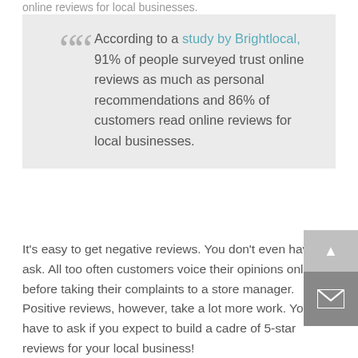online reviews for local businesses.
According to a study by Brightlocal, 91% of people surveyed trust online reviews as much as personal recommendations and 86% of customers read online reviews for local businesses.
It's easy to get negative reviews. You don't even have to ask. All too often customers voice their opinions online before taking their complaints to a store manager. Positive reviews, however, take a lot more work. You have to ask if you expect to build a cadre of 5-star reviews for your local business!